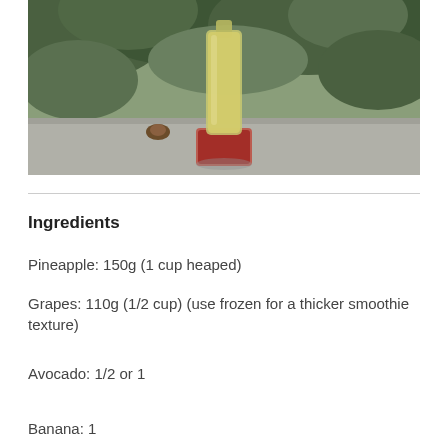[Figure (photo): A glass bottle filled with a green smoothie sitting on a concrete ledge outdoors, with green foliage in the background.]
Ingredients
Pineapple: 150g (1 cup heaped)
Grapes: 110g (1/2 cup) (use frozen for a thicker smoothie texture)
Avocado: 1/2 or 1
Banana: 1